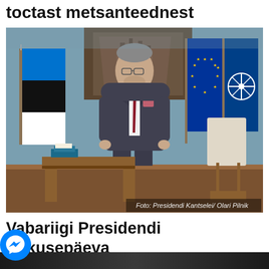toctast metsanteednest
[Figure (photo): Man in dark suit standing in an official room with Estonian, EU, and NATO flags. Tapestry on wall behind him. Wooden desk and podium visible.]
Foto: Presidendi Kantselei/ Olari Pilnik
Vabariigi Presidendi tarkusepäeva tervitus